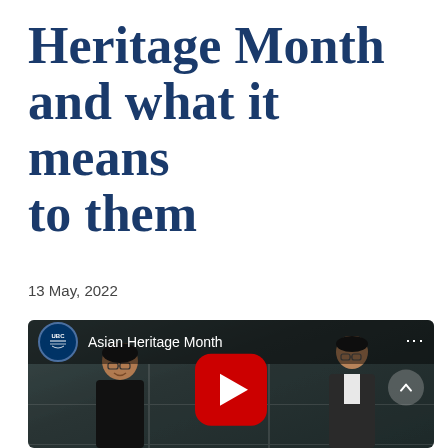Heritage Month and what it means to them
13 May, 2022
[Figure (screenshot): YouTube video thumbnail showing two men standing in an office, with UBC logo and 'Asian Heritage Month' title in the top bar, and a red YouTube play button in the center.]